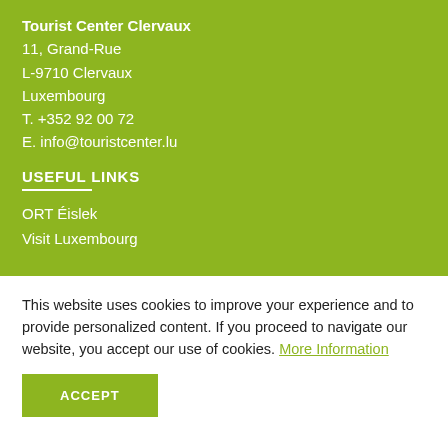Tourist Center Clervaux
11, Grand-Rue
L-9710 Clervaux
Luxembourg
T. +352 92 00 72
E. info@touristcenter.lu
USEFUL LINKS
ORT Éislek
Visit Luxembourg
SOCIAL MEDIA
This website uses cookies to improve your experience and to provide personalized content. If you proceed to navigate our website, you accept our use of cookies. More Information
ACCEPT